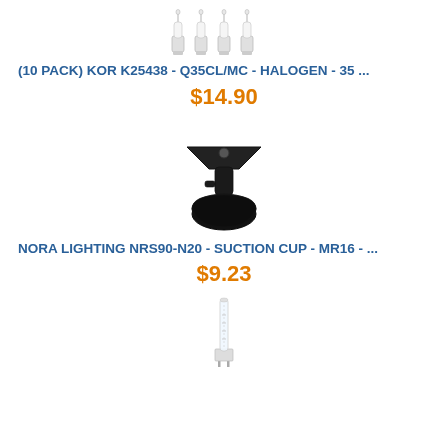[Figure (photo): Four halogen bulbs standing upright in a row, viewed from the front, with white bases]
(10 PACK) KOR K25438 - Q35CL/MC - HALOGEN - 35 ...
$14.90
[Figure (photo): Black suction cup mount for MR16 lighting fixture, with triangular top bracket and round black base]
NORA LIGHTING NRS90-N20 - SUCTION CUP - MR16 - ...
$9.23
[Figure (photo): Single halogen capsule bulb standing upright, clear glass with visible filament]